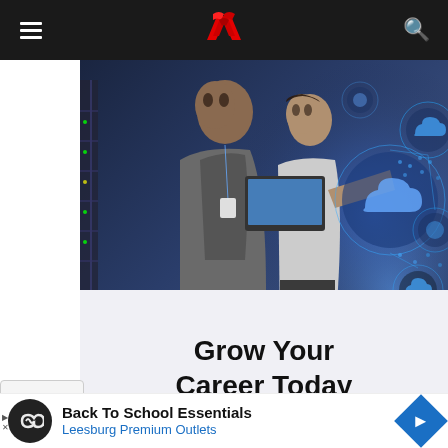Navigation bar with hamburger menu, AT&T logo, and search icon
[Figure (photo): Two IT professionals in a server room/data center. One person holds a laptop while the other points at a glowing blue digital display wall with cloud icons and connected nodes.]
Grow Your Career Today
[Figure (logo): Partial logo visible at bottom of the career card]
Back To School Essentials
Leesburg Premium Outlets